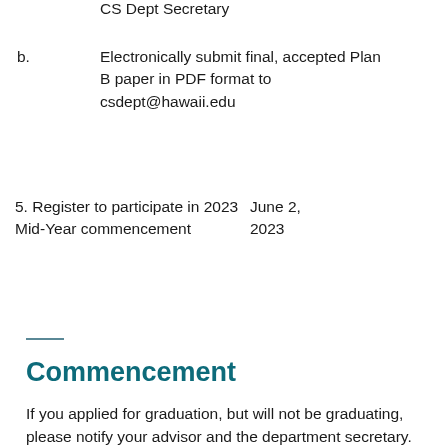CS Dept Secretary
b. Electronically submit final, accepted Plan B paper in PDF format to csdept@hawaii.edu
5. Register to participate in 2023 Mid-Year commencement	June 2, 2023
Commencement
If you applied for graduation, but will not be graduating, please notify your advisor and the department secretary.